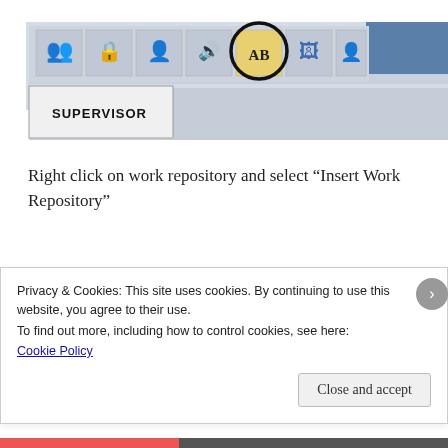[Figure (screenshot): Screenshot of a toolbar with icons; one icon is circled in black. Below the toolbar is a tab labeled SUPERVISOR.]
Right click on work repository and select “Insert Work Repository”
In the connection window, complete the following parameters:
Name: Type the name for your work repository connection.
Privacy & Cookies: This site uses cookies. By continuing to use this website, you agree to their use.
To find out more, including how to control cookies, see here:
Cookie Policy
Close and accept